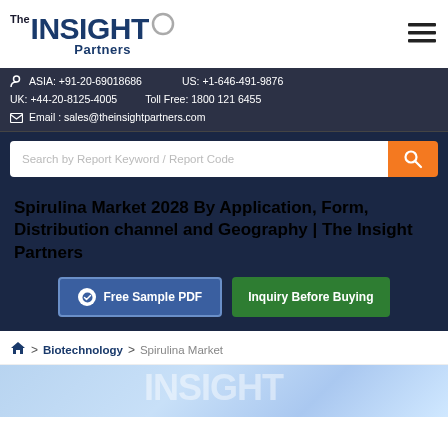[Figure (logo): The Insight Partners logo with circular accent on P]
ASIA: +91-20-69018686   US: +1-646-491-9876
UK: +44-20-8125-4005   Toll Free: 1800 121 6455
Email : sales@theinsightpartners.com
[Figure (screenshot): Search bar with placeholder 'Search by Report Keyword / Report Code' and orange search button]
Spirulina Market 2028 By Application, Form, Distribution channel and Geography | The Insight Partners
Free Sample PDF   Inquiry Before Buying
> Biotechnology > Spirulina Market
[Figure (photo): Partial preview image with The Insight Partners logo watermark on blue background]